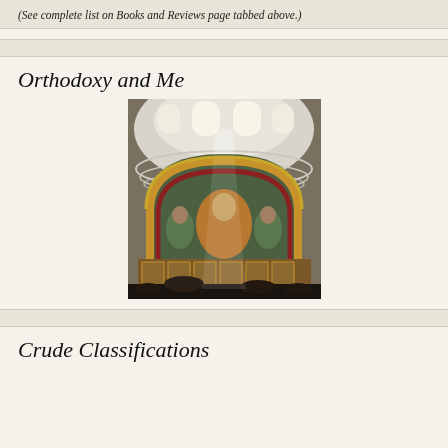(See complete list on Books and Reviews page tabbed above.)
Orthodoxy and Me
[Figure (photo): Interior of an Orthodox church showing a domed ceiling with light streaming down, and a colorful mosaic apse with religious iconography and iconostasis below.]
Crude Classifications